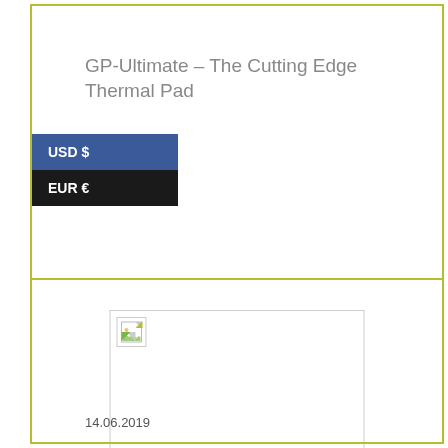GP-Ultimate – The Cutting Edge Thermal Pad
USD $
EUR €
[Figure (photo): Broken/missing product image placeholder for GP-Ultimate thermal pad]
14.06.2019